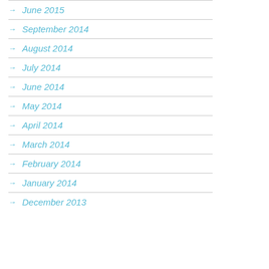June 2015
September 2014
August 2014
July 2014
June 2014
May 2014
April 2014
March 2014
February 2014
January 2014
December 2013